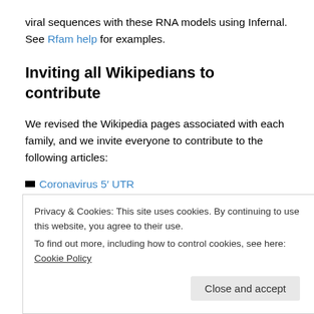viral sequences with these RNA models using Infernal. See Rfam help for examples.
Inviting all Wikipedians to contribute
We revised the Wikipedia pages associated with each family, and we invite everyone to contribute to the following articles:
Coronavirus 5′ UTR
Coronavirus 3′ UTR
Privacy & Cookies: This site uses cookies. By continuing to use this website, you agree to their use.
To find out more, including how to control cookies, see here: Cookie Policy